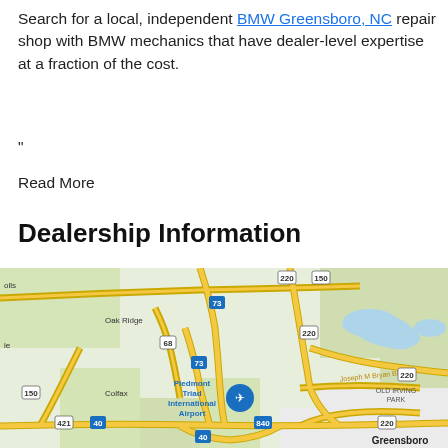Search for a local, independent BMW Greensboro, NC repair shop with BMW mechanics that have dealer-level expertise at a fraction of the cost.
”
Read More
Dealership Information
[Figure (map): Google Maps view of the Greensboro, NC area showing Piedmont Triad International Airport, Oak Ridge, Colfax, Old Irving Park, and surrounding roads including routes 220, 150, 73, 68, 421, 40, 840.]